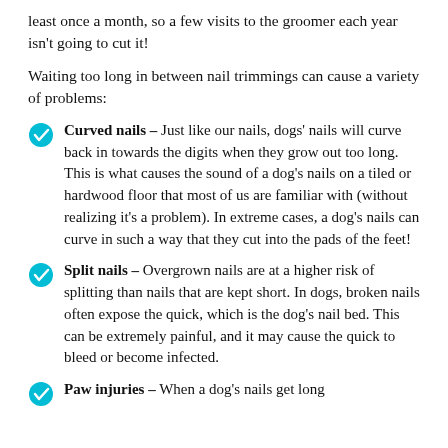least once a month, so a few visits to the groomer each year isn't going to cut it!
Waiting too long in between nail trimmings can cause a variety of problems:
Curved nails – Just like our nails, dogs' nails will curve back in towards the digits when they grow out too long. This is what causes the sound of a dog's nails on a tiled or hardwood floor that most of us are familiar with (without realizing it's a problem). In extreme cases, a dog's nails can curve in such a way that they cut into the pads of the feet!
Split nails – Overgrown nails are at a higher risk of splitting than nails that are kept short. In dogs, broken nails often expose the quick, which is the dog's nail bed. This can be extremely painful, and it may cause the quick to bleed or become infected.
Paw injuries – When a dog's nails get long...